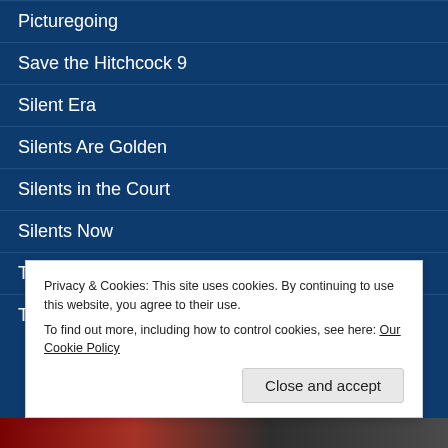Picturegoing
Save the Hitchcock 9
Silent Era
Silents Are Golden
Silents in the Court
Silents Now
The Bill Douglas Centre
The Jazz Age
Privacy & Cookies: This site uses cookies. By continuing to use this website, you agree to their use.
To find out more, including how to control cookies, see here: Our Cookie Policy
Close and accept